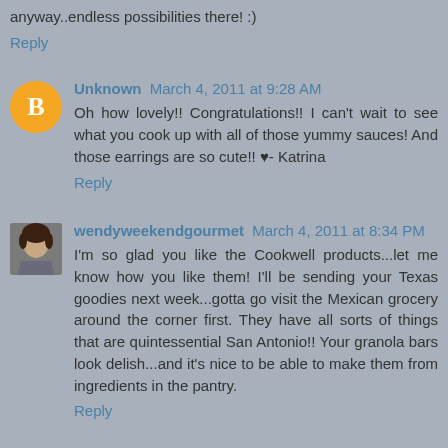anyway..endless possibilities there! :)
Reply
Unknown  March 4, 2011 at 9:28 AM
Oh how lovely!! Congratulations!! I can't wait to see what you cook up with all of those yummy sauces! And those earrings are so cute!! ♥- Katrina
Reply
wendyweekendgourmet  March 4, 2011 at 8:34 PM
I'm so glad you like the Cookwell products...let me know how you like them! I'll be sending your Texas goodies next week...gotta go visit the Mexican grocery around the corner first. They have all sorts of things that are quintessential San Antonio!! Your granola bars look delish...and it's nice to be able to make them from ingredients in the pantry.
Reply